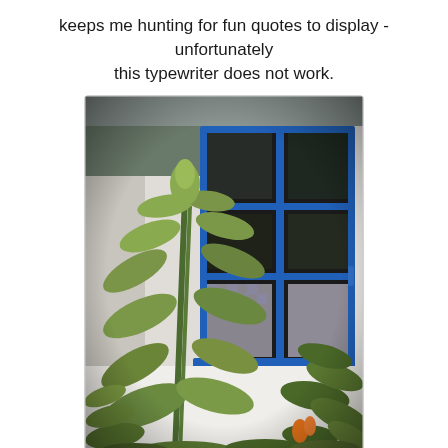keeps me hunting for fun quotes to display - unfortunately this typewriter does not work.
[Figure (photo): A photograph showing a blue-framed window with multiple panes on a white wall, with large green leafy plants (possibly artichoke or similar) growing in front of the window, and additional green foliage in the lower right corner.]